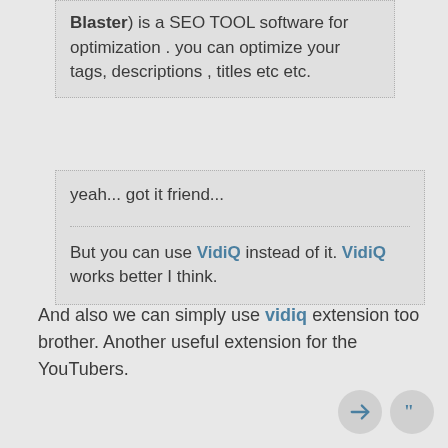Blaster) is a SEO TOOL software for optimization . you can optimize your tags, descriptions , titles etc etc.
yeah... got it friend...
But you can use VidiQ instead of it. VidiQ works better I think.
And also we can simply use vidiq extension too brother. Another useful extension for the YouTubers.